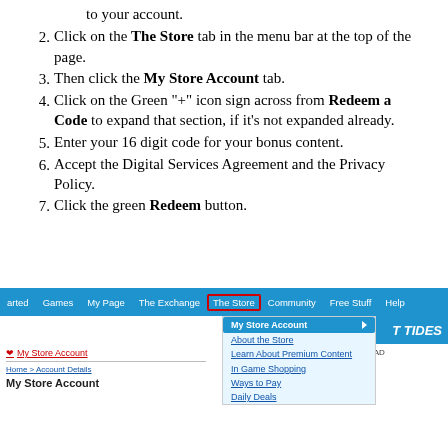to your account.
Click on the The Store tab in the menu bar at the top of the page.
Then click the My Store Account tab.
Click on the Green "+" icon sign across from Redeem a Code to expand that section, if it's not expanded already.
Enter your 16 digit code for your bonus content.
Accept the Digital Services Agreement and the Privacy Policy.
Click the green Redeem button.
[Figure (screenshot): Screenshot of a game website navigation bar showing 'The Store' tab selected (highlighted with red border), a dropdown menu open beneath it with 'My Store Account' highlighted in blue, options including 'About the Store', 'Learn About Premium Content', 'In Game Shopping', 'Ways to Pay', 'Daily Deals'. The left side shows 'My Store Account' link in red, a divider line, breadcrumb 'Home > Account Details', and page title 'My Store Account'. Right side shows a partial banner reading 'T TIDES' with a Store search field.]